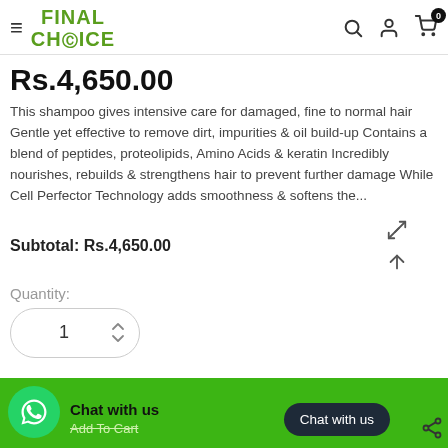Final Choice — navigation header with logo, search, account, and cart icons
Rs.4,650.00
This shampoo gives intensive care for damaged, fine to normal hair Gentle yet effective to remove dirt, impurities & oil build-up Contains a blend of peptides, proteolipids, Amino Acids & keratin Incredibly nourishes, rebuilds & strengthens hair to prevent further damage While Cell Perfector Technology adds smoothness & softens the...
Subtotal:  Rs.4,650.00
Quantity:
1
Chat with us  Add To Cart
Chat with us